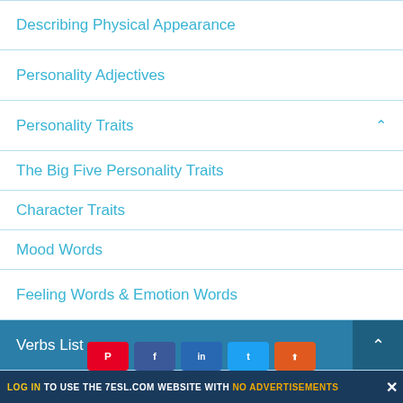Describing Physical Appearance
Personality Adjectives
Personality Traits
The Big Five Personality Traits
Character Traits
Mood Words
Feeling Words & Emotion Words
Verbs List
Action Verbs List
Adverbs List
Prepositions List
LOG IN TO USE THE 7ESL.COM WEBSITE WITH NO ADVERTISEMENTS